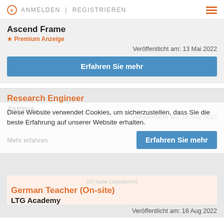ANMELDEN | REGISTRIEREN
Ascend Frame
★ Premium Anzeige
Veröffentlicht am: 13 Mai 2022
Erfahren Sie mehr
Research Engineer
Astreya
Veröffentlicht am: 18 Aug 2022
Diese Website verwendet Cookies, um sicherzustellen, dass Sie die beste Erfahrung auf unserer Website erhalten
Mehr erfahren
Erfahren Sie mehr
German Teacher (On-site)
LTG Academy
Veröffentlicht am: 18 Aug 2022